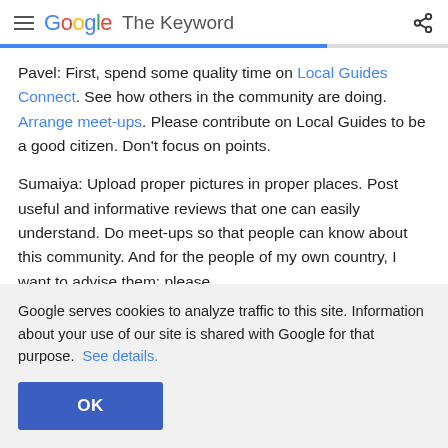Google The Keyword
Pavel: First, spend some quality time on Local Guides Connect. See how others in the community are doing. Arrange meet-ups. Please contribute on Local Guides to be a good citizen. Don't focus on points.
Sumaiya: Upload proper pictures in proper places. Post useful and informative reviews that one can easily understand. Do meet-ups so that people can know about this community. And for the people of my own country, I want to advise them: please
Google serves cookies to analyze traffic to this site. Information about your use of our site is shared with Google for that purpose. See details.